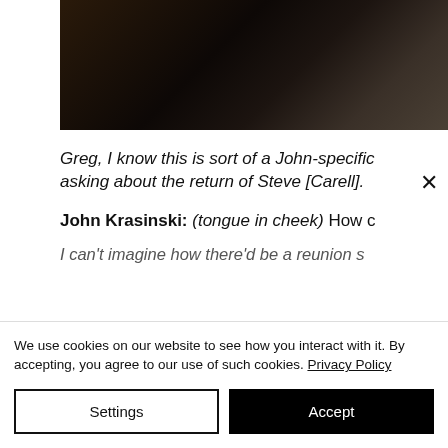[Figure (photo): Dark photograph of people, appears to be a crowd or group scene with dark tones]
Greg, I know this is sort of a John-specific asking about the return of Steve [Carell].
John Krasinski: (tongue in cheek) How c
I can't imagine how there'd be a reunion s
We use cookies on our website to see how you interact with it. By accepting, you agree to our use of such cookies. Privacy Policy
Settings
Accept